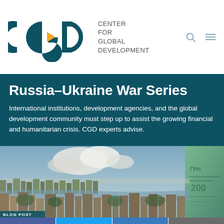[Figure (logo): CGD Center for Global Development logo with teal/yellow lettering and text]
Russia–Ukraine War Series
International institutions, development agencies, and the global development community must step up to assist the growing financial and humanitarian crisis. CGD experts advise.
[Figure (photo): Aerial view of a city with river and clouds, partially overlaid with currency image on right side. BLOG POST label at bottom.]
[Figure (infographic): Social media sharing bar with Facebook, Twitter, LinkedIn, and email icons]